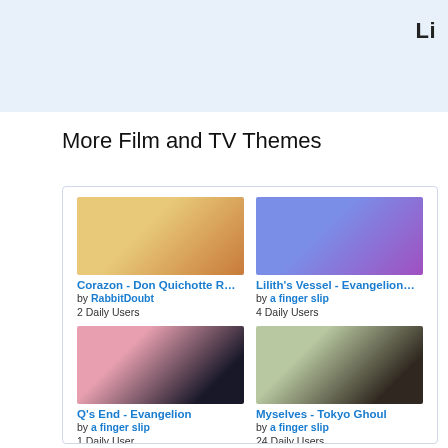Li
More Film and TV Themes
Corazon - Don Quichotte R...
by RabbitDoubt
2 Daily Users
Lilith's Vessel - Evangelion...
by a finger slip
4 Daily Users
Q's End - Evangelion
by a finger slip
1 Daily User
Myselves - Tokyo Ghoul
by a finger slip
24 Daily Users
Tegami Bachi Lag&Gauche...
Monkey ball Jonas purc...